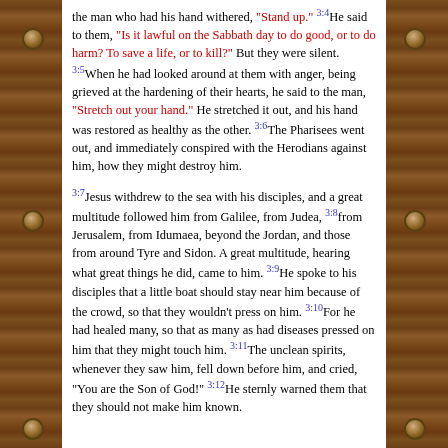the man who had his hand withered, 'Stand up.' He said to them, 'Is it lawful on the Sabbath day to do good, or to do harm? To save a life, or to kill?' But they were silent. 3:5When he had looked around at them with anger, being grieved at the hardening of their hearts, he said to the man, 'Stretch out your hand.' He stretched it out, and his hand was restored as healthy as the other. 3:6The Pharisees went out, and immediately conspired with the Herodians against him, how they might destroy him. 3:7Jesus withdrew to the sea with his disciples, and a great multitude followed him from Galilee, from Judea, 3:8from Jerusalem, from Idumaea, beyond the Jordan, and those from around Tyre and Sidon. A great multitude, hearing what great things he did, came to him. 3:9He spoke to his disciples that a little boat should stay near him because of the crowd, so that they wouldn't press on him. 3:10For he had healed many, so that as many as had diseases pressed on him that they might touch him. 3:11The unclean spirits, whenever they saw him, fell down before him, and cried, 'You are the Son of God!' 3:12He sternly warned them that they should not make him known.